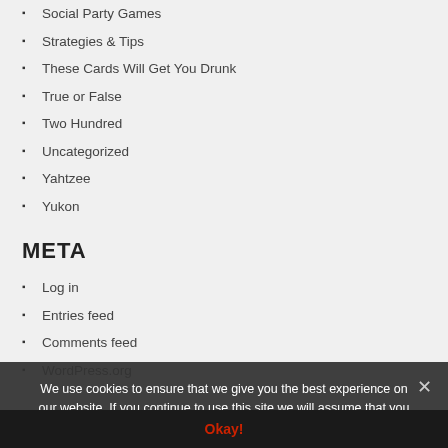Social Party Games
Strategies & Tips
These Cards Will Get You Drunk
True or False
Two Hundred
Uncategorized
Yahtzee
Yukon
META
Log in
Entries feed
Comments feed
WordPress.org
We use cookies to ensure that we give you the best experience on our website. If you continue to use this site we will assume that you are happy with it. Please see our Cookies Policy for more information.
Okay!